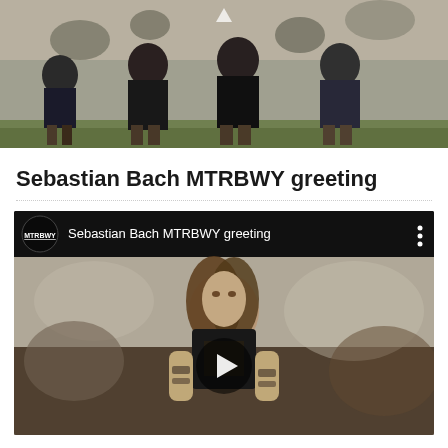[Figure (photo): Band photo showing four people standing against a weathered/peeling wall background, with green grass visible at bottom]
Sebastian Bach MTRBWY greeting
[Figure (screenshot): YouTube video embed showing MTRBWY channel with Sebastian Bach MTRBWY greeting video, featuring a person with long hair wearing a black vest standing in front of a stone wall background, with a play button overlay]